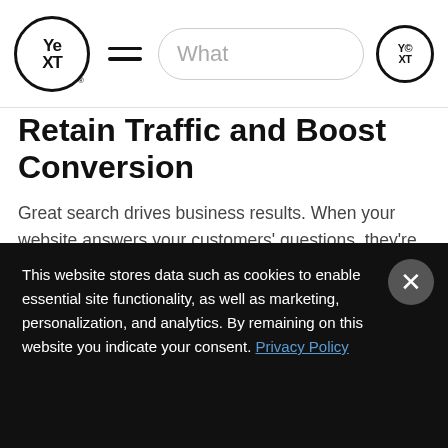Yext — navigation header with logo, hamburger menu, and search bar
Retain Traffic and Boost Conversion
Great search drives business results. When your website answers your customers' questions, they're more likely to stay on your site, instead of bouncing to a search engine or a competitor. Early adopters have seen Yext drive a 36% higher website conversion rate than legacy keyword-based search providers.
This website stores data such as cookies to enable essential site functionality, as well as marketing, personalization, and analytics. By remaining on this website you indicate your consent. Privacy Policy